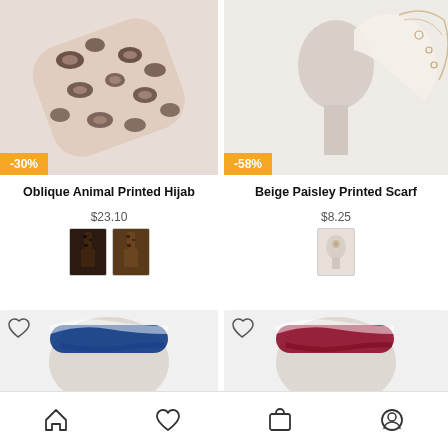[Figure (photo): Oblique Animal Printed Hijab product photo with leopard print on light pink background, -30% discount badge]
[Figure (photo): Beige Paisley Printed Scarf on mannequin head, -58% discount badge]
Oblique Animal Printed Hijab
$23.10
[Figure (photo): Two color swatches for the hijab]
Beige Paisley Printed Scarf
$8.25
[Figure (photo): One color swatch for the scarf]
[Figure (photo): Blue tie-dye headband product photo]
[Figure (photo): Red tie-dye headband product photo]
[Figure (other): Bottom navigation bar with home, heart, cart, and profile icons]